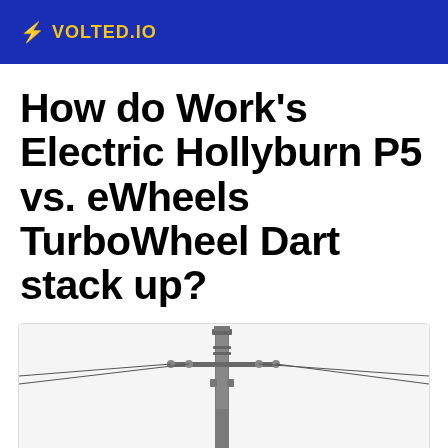⚡ VOLTED.IO
How do Work's Electric Hollyburn P5 vs. eWheels TurboWheel Dart stack up?
[Figure (photo): A utility/electric pole photographed against a white/light grey sky background, showing the pole structure with crossarms and hardware at the top.]